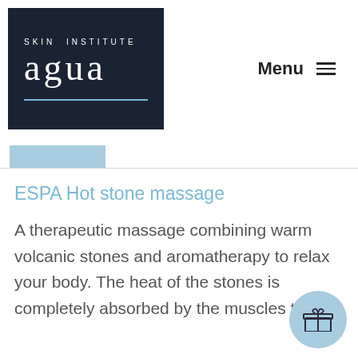[Figure (logo): Skin Institute Agua logo — dark navy square with 'SKIN INSTITUTE' text above, 'agua' in large serif font, and a thin blue horizontal line below]
Menu ≡
[Figure (other): Light blue active tab/button element at the top of a tab bar]
ESPA Hot stone massage
A therapeutic massage combining warm volcanic stones and aromatherapy to relax your body. The heat of the stones is completely absorbed by the muscles to m…
[Figure (illustration): Light blue circular button with a gift box / present icon in the bottom-right corner]